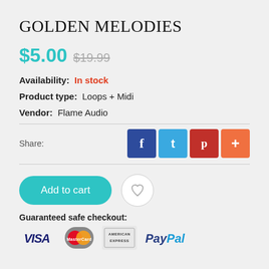GOLDEN MELODIES
$5.00  $19.99
Availability:  In stock
Product type:  Loops + Midi
Vendor:  Flame Audio
Share:
Add to cart
Guaranteed safe checkout:
[Figure (logo): Payment logos: VISA, MasterCard, American Express, PayPal]